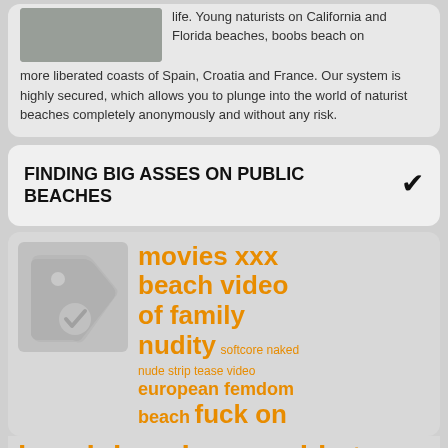[Figure (photo): Partial photo of a person on a beach, cropped at top]
life. Young naturists on California and Florida beaches, boobs beach on more liberated coasts of Spain, Croatia and France. Our system is highly secured, which allows you to plunge into the world of naturist beaches completely anonymously and without any risk.
FINDING BIG ASSES ON PUBLIC BEACHES
[Figure (illustration): Gray tag/badge icon with checkmark]
movies xxx beach video of family nudity softcore naked nude strip tease video european femdom beach fuck on beach beach porn vids teens on